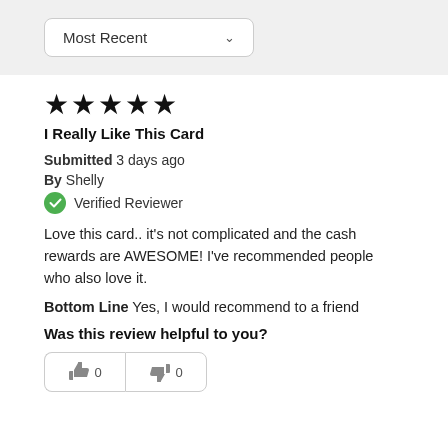[Figure (screenshot): Dropdown filter selector showing 'Most Recent' with a chevron/down arrow, on a light grey background.]
★★★★★
I Really Like This Card
Submitted 3 days ago
By Shelly
Verified Reviewer
Love this card.. it's not complicated and the cash rewards are AWESOME! I've recommended people who also love it.
Bottom Line Yes, I would recommend to a friend
Was this review helpful to you?
[Figure (screenshot): Two vote buttons at the bottom — thumbs up with 0 and thumbs down with 0.]